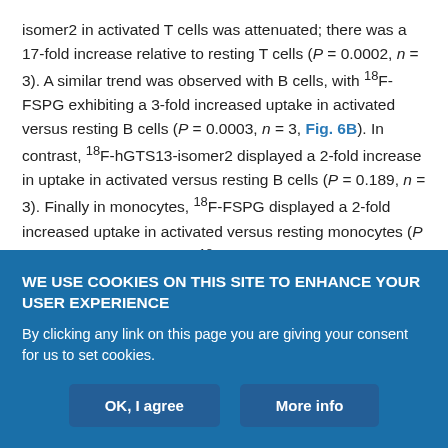isomer2 in activated T cells was attenuated; there was a 17-fold increase relative to resting T cells (P = 0.0002, n = 3). A similar trend was observed with B cells, with 18F-FSPG exhibiting a 3-fold increased uptake in activated versus resting B cells (P = 0.0003, n = 3, Fig. 6B). In contrast, 18F-hGTS13-isomer2 displayed a 2-fold increase in uptake in activated versus resting B cells (P = 0.189, n = 3). Finally in monocytes, 18F-FSPG displayed a 2-fold increased uptake in activated versus resting monocytes (P = 0.0022, n = 3) whereas 18F-hGTS13-isomer2 exhibited a 4-fold increased uptake in activated versus resting monocytes (P < 0.0001, n = 3, Fig. 6C). However, 18F-hGTS13-isomer2 absolute uptake values were
WE USE COOKIES ON THIS SITE TO ENHANCE YOUR USER EXPERIENCE
By clicking any link on this page you are giving your consent for us to set cookies.
OK, I agree | More info